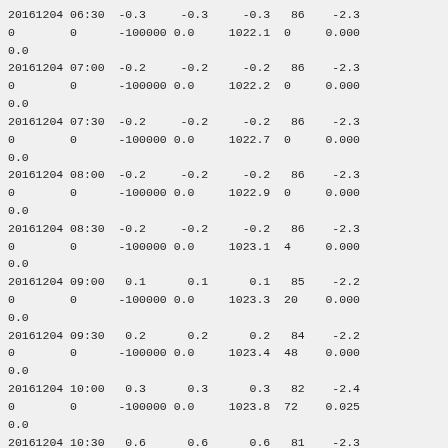20161204 06:30   -0.3     -0.3     -0.3   86    -2.3
0         0     -100000 0.0     1022.1  0     0.000
0.0
20161204 07:00   -0.2     -0.2     -0.2   86    -2.3
0         0     -100000 0.0     1022.2  0     0.000
0.0
20161204 07:30   -0.2     -0.2     -0.2   86    -2.3
0         0     -100000 0.0     1022.7  0     0.000
0.0
20161204 08:00   -0.2     -0.2     -0.2   86    -2.3
0         0     -100000 0.0     1022.9  0     0.000
0.0
20161204 08:30   -0.2     -0.2     -0.2   86    -2.3
0         0     -100000 0.0     1023.1  4     0.000
0.0
20161204 09:00    0.1      0.1      0.1   85    -2.2
0         0     -100000 0.0     1023.3  20    0.000
0.0
20161204 09:30    0.2      0.2      0.2   84    -2.2
0         0     -100000 0.0     1023.4  48    0.000
0.0
20161204 10:00    0.3      0.3      0.3   82    -2.4
0         0     -100000 0.0     1023.8  72    0.025
0.0
20161204 10:30    0.6      0.6      0.6   81    -2.3